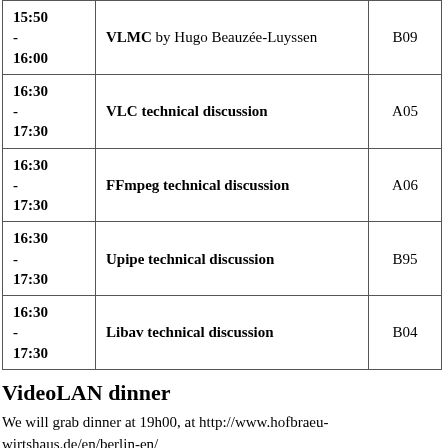| Time | Event | Room |
| --- | --- | --- |
| 15:50 - 16:00 | VLMC by Hugo Beauzée-Luyssen | B09 |
| 16:30 - 17:30 | VLC technical discussion | A05 |
| 16:30 - 17:30 | FFmpeg technical discussion | A06 |
| 16:30 - 17:30 | Upipe technical discussion | B95 |
| 16:30 - 17:30 | Libav technical discussion | B04 |
VideoLAN dinner
We will grab dinner at 19h00, at http://www.hofbraeu-wirtshaus.de/en/berlin-en/
The restaurant is located on Karl-Liebknecht-Strasse 30 10178 Berlin, which is a few minutes away from the conference venue.